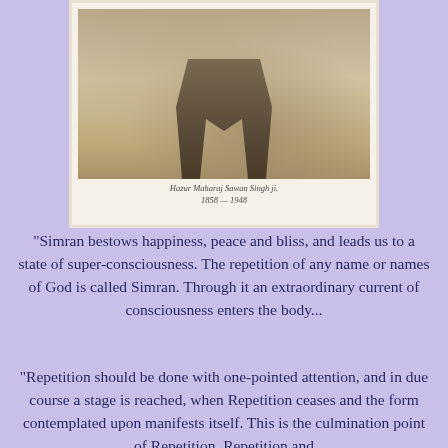[Figure (photo): Sepia-toned historical photograph showing a person seated, visible from approximately the waist down, wearing light-colored clothing and dark shoes. White bordered photo mount. Caption below reads: Hazur Maharaj Sawan Singh ji. 1858 — 1948]
Hazur Maharaj Sawan Singh ji. 1858 — 1948
"Simran bestows happiness, peace and bliss, and leads us to a state of super-consciousness. The repetition of any name or names of God is called Simran. Through it an extraordinary current of consciousness enters the body...
"Repetition should be done with one-pointed attention, and in due course a stage is reached, when Repetition ceases and the form contemplated upon manifests itself. This is the culmination point of Repetition. Repetition and